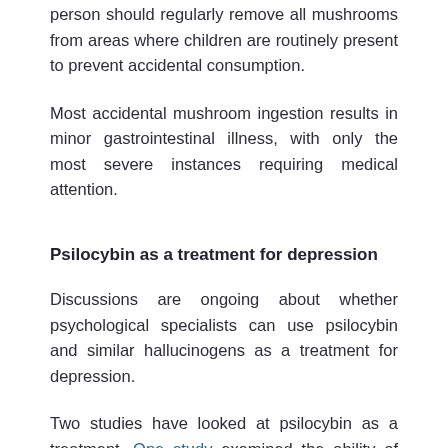person should regularly remove all mushrooms from areas where children are routinely present to prevent accidental consumption.
Most accidental mushroom ingestion results in minor gastrointestinal illness, with only the most severe instances requiring medical attention.
Psilocybin as a treatment for depression
Discussions are ongoing about whether psychological specialists can use psilocybin and similar hallucinogens as a treatment for depression.
Two studies have looked at psilocybin as a treatment. One study examined the ability of psilocybin to reduce depression symptoms without dulling emotions, and the other assessed the